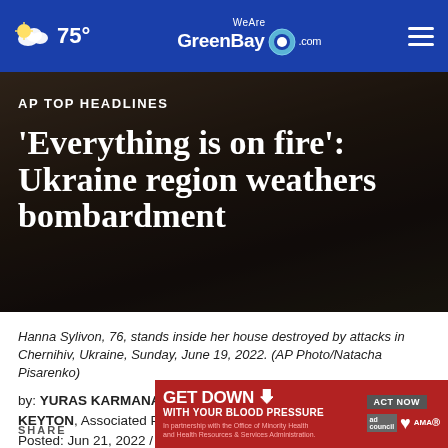75° WeAreGreenBay.com
AP TOP HEADLINES
'Everything is on fire': Ukraine region weathers bombardment
Hanna Sylivon, 76, stands inside her house destroyed by attacks in Chernihiv, Ukraine, Sunday, June 19, 2022. (AP Photo/Natacha Pisarenko)
by: YURAS KARMANAU, JOHN LEICESTER and DAVID KEYTON, Associated Press
Posted: Jun 21, 2022 / 06:46 AM CDT
Updated: Jun 21, 2022 / 09:14 PM CDT
[Figure (screenshot): Advertisement banner: GET DOWN WITH YOUR BLOOD PRESSURE — ACT NOW, with ad council, American Heart Association, and AMA logos]
SHARE